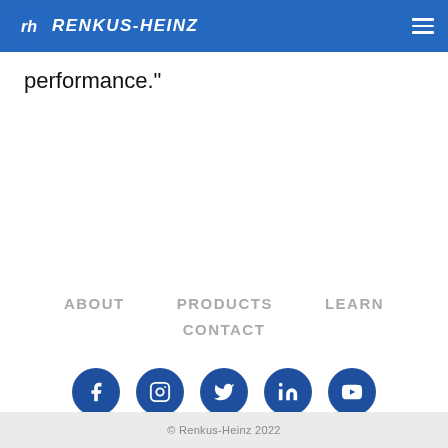RENKUS-HEINZ
performance."
ABOUT
PRODUCTS
LEARN
CONTACT
[Figure (infographic): Row of five dark blue circular social media icons: Facebook, Instagram, Twitter, LinkedIn, YouTube]
© Renkus-Heinz 2022